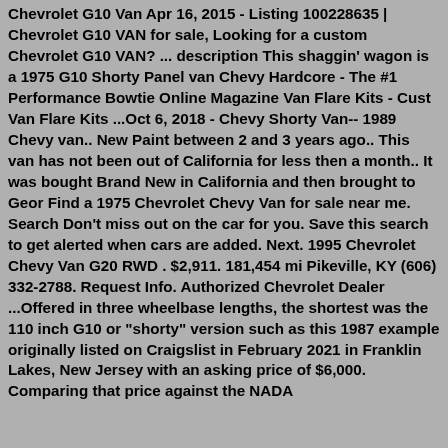Chevrolet G10 Van Apr 16, 2015 - Listing 100228635 | Chevrolet G10 VAN for sale, Looking for a custom Chevrolet G10 VAN? ... description This shaggin' wagon is a 1975 G10 Shorty Panel van Chevy Hardcore - The #1 Performance Bowtie Online Magazine Van Flare Kits - Cust Van Flare Kits ...Oct 6, 2018 - Chevy Shorty Van-- 1989 Chevy van.. New Paint between 2 and 3 years ago.. This van has not been out of California for less then a month.. It was bought Brand New in California and then brought to Geor Find a 1975 Chevrolet Chevy Van for sale near me. Search Don't miss out on the car for you. Save this search to get alerted when cars are added. Next. 1995 Chevrolet Chevy Van G20 RWD . $2,911. 181,454 mi Pikeville, KY (606) 332-2788. Request Info. Authorized Chevrolet Dealer ...Offered in three wheelbase lengths, the shortest was the 110 inch G10 or "shorty" version such as this 1987 example originally listed on Craigslist in February 2021 in Franklin Lakes, New Jersey with an asking price of $6,000. Comparing that price against the NADA